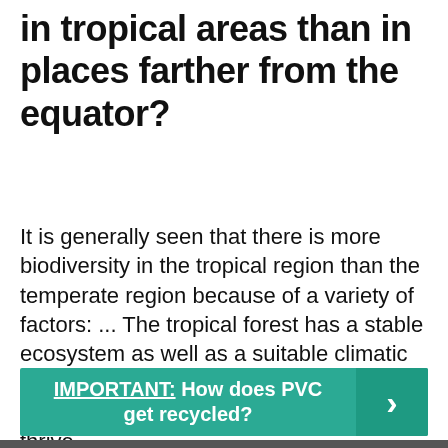in tropical areas than in places farther from the equator?
It is generally seen that there is more biodiversity in the tropical region than the temperate region because of a variety of factors: ... The tropical forest has a stable ecosystem as well as a suitable climatic condition and favorable reproductive environment for animal and species to thrive.
IMPORTANT: How does PVC get recycled?
[Figure (photo): Partial photo strip visible at bottom of page]